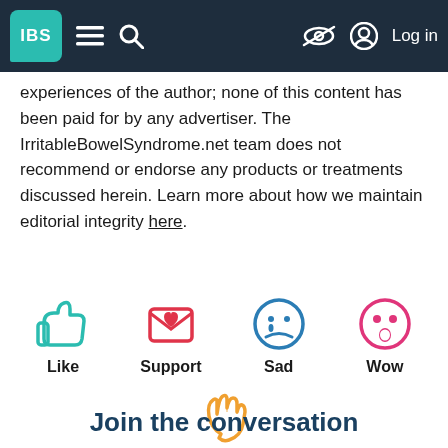IBS [logo] — navigation bar with hamburger menu, search, visibility off icon, Log in
experiences of the author; none of this content has been paid for by any advertiser. The IrritableBowelSyndrome.net team does not recommend or endorse any products or treatments discussed herein. Learn more about how we maintain editorial integrity here.
[Figure (infographic): Reaction buttons: Like (teal thumbs up), Support (red envelope with heart), Sad (blue sad face), Wow (pink surprised face), Same (orange hand wave)]
Join the conversation